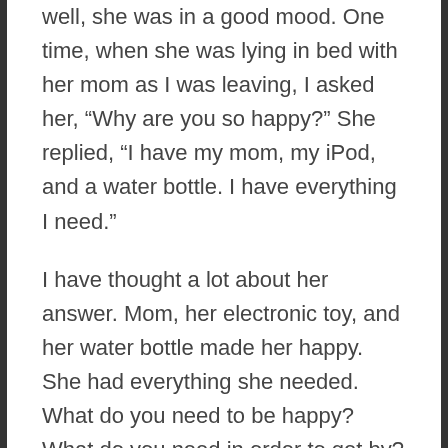well, she was in a good mood. One time, when she was lying in bed with her mom as I was leaving, I asked her, “Why are you so happy?” She replied, “I have my mom, my iPod, and a water bottle. I have everything I need.”
I have thought a lot about her answer. Mom, her electronic toy, and her water bottle made her happy. She had everything she needed. What do you need to be happy? What do you need in order to get by? Seems like the older we get our list just grows. We think we need more to be content. Our list grows and grows and we find ourselves happy